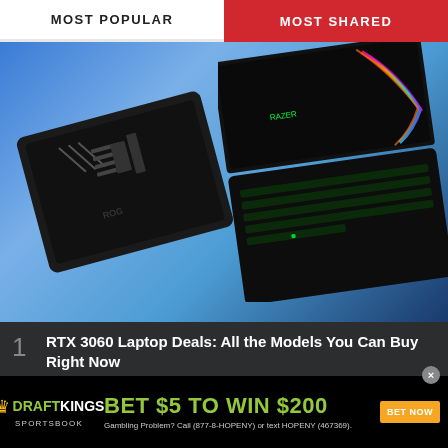MOST POPULAR | MOST SHARED
[Figure (photo): Two gaming laptops on a blue gradient background — left: ASUS dark laptop lid, right: Razer laptop with RGB keyboard open from above]
1 RTX 3060 Laptop Deals: All the Models You Can Buy Right Now
2 Asus Unveils Trio of AMD X670E AM5 Motherboards For Zen 4
[Figure (infographic): DraftKings Sportsbook advertisement banner: BET $5 TO WIN $200, BET NOW button, Gambling Problem? Call (877-8-HOPENY) or text HOPENY (467369).]